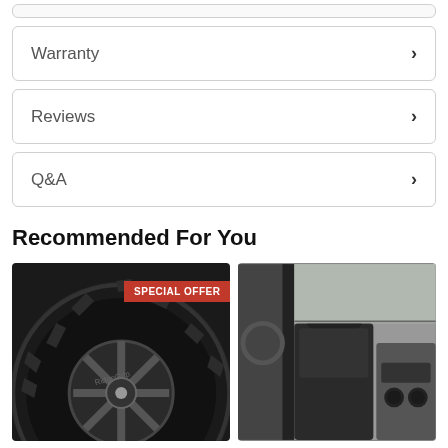Warranty
Reviews
Q&A
Recommended For You
[Figure (photo): A black off-road tire on an alloy wheel with a SPECIAL OFFER banner overlay]
[Figure (photo): Interior of a truck/SUV showing front seats, center console and steering wheel]